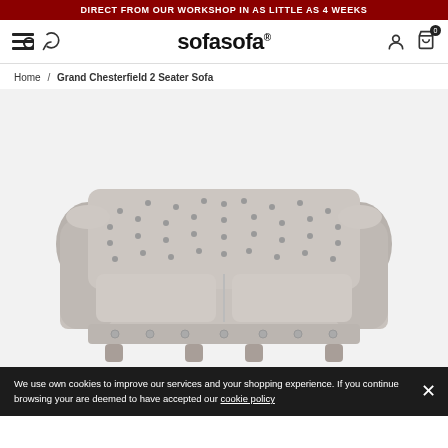DIRECT FROM OUR WORKSHOP IN AS LITTLE AS 4 WEEKS
[Figure (logo): sofasofa logo with navigation icons (hamburger/search, phone, user, cart)]
Home / Grand Chesterfield 2 Seater Sofa
[Figure (photo): Grand Chesterfield 2 Seater Sofa in light grey leather with button tufting on back and arms]
We use own cookies to improve our services and your shopping experience. If you continue browsing your are deemed to have accepted our cookie policy